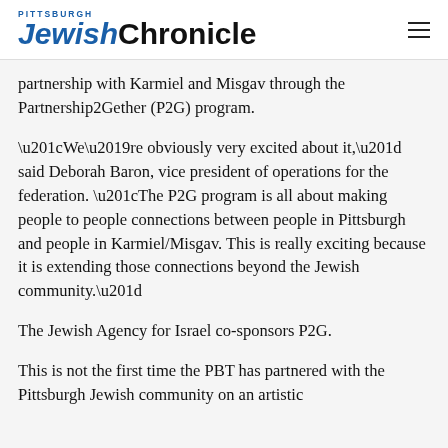Pittsburgh Jewish Chronicle
partnership with Karmiel and Misgav through the Partnership2Gether (P2G) program.
“We’re obviously very excited about it,” said Deborah Baron, vice president of operations for the federation. “The P2G program is all about making people to people connections between people in Pittsburgh and people in Karmiel/Misgav. This is really exciting because it is extending those connections beyond the Jewish community.”
The Jewish Agency for Israel co-sponsors P2G.
This is not the first time the PBT has partnered with the Pittsburgh Jewish community on an artistic